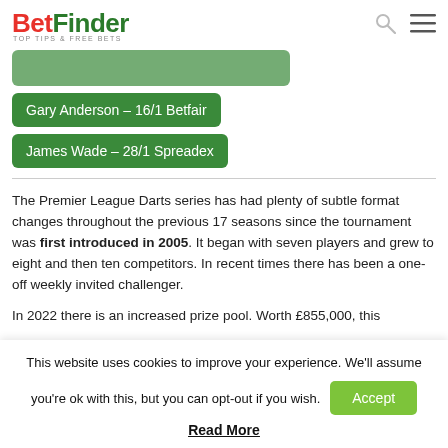BetFinder TOP TIPS & FREE BETS
Gary Anderson – 16/1 Betfair
James Wade – 28/1 Spreadex
The Premier League Darts series has had plenty of subtle format changes throughout the previous 17 seasons since the tournament was first introduced in 2005. It began with seven players and grew to eight and then ten competitors. In recent times there has been a one-off weekly invited challenger.
In 2022 there is an increased prize pool. Worth £855,000, this
This website uses cookies to improve your experience. We'll assume you're ok with this, but you can opt-out if you wish. Accept
Read More